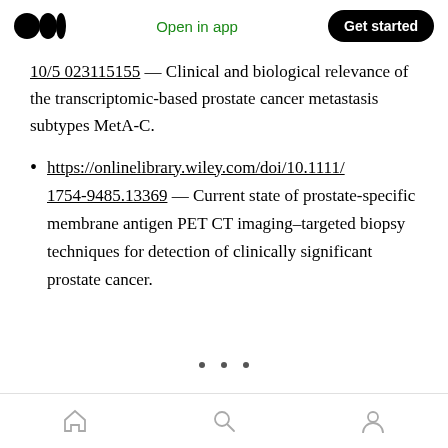Medium app navigation bar with logo, Open in app, Get started
Clinical and biological relevance of the transcriptomic-based prostate cancer metastasis subtypes MetA-C.
https://onlinelibrary.wiley.com/doi/10.1111/1754-9485.13369 — Current state of prostate-specific membrane antigen PET CT imaging–targeted biopsy techniques for detection of clinically significant prostate cancer.
Bottom navigation bar with home, search, and profile icons